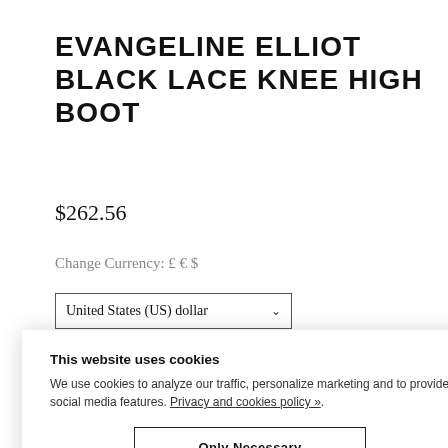EVANGELINE ELLIOT BLACK LACE KNEE HIGH BOOT
$262.56
Change Currency: £ € $
United States (US) dollar
This website uses cookies
We use cookies to analyze our traffic, personalize marketing and to provide social media features. Privacy and cookies policy ».
Only Necessary
Allow All Cookies
Configure Settings »
Handmade keepsake box